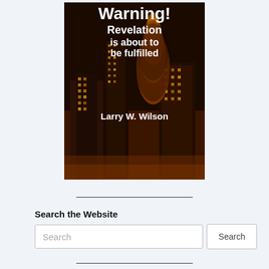[Figure (illustration): Book cover showing city buildings at night with fire/smoke rising, text 'Warning! Revelation is about to be fulfilled' and author name 'Larry W. Wilson']
Search the Website